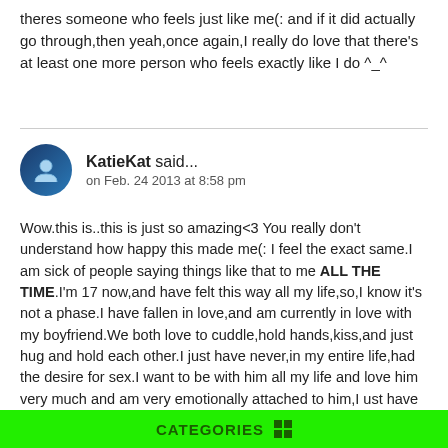theres someone who feels just like me(: and if it did actually go through,then yeah,once again,I really do love that there's at least one more person who feels exactly like I do ^_^
KatieKat said... on Feb. 24 2013 at 8:58 pm
Wow.this is..this is just so amazing<3 You really don't understand how happy this made me(: I feel the exact same.I am sick of people saying things like that to me ALL THE TIME.I'm 17 now,and have felt this way all my life,so,I know it's not a phase.I have fallen in love,and am currently in love with my boyfriend.We both love to cuddle,hold hands,kiss,and just hug and hold each other.I just have never,in my entire life,had the desire for sex.I want to be with him all my life and love him very much and am very emotionally attached to him,I ust have never been sexually attracted towards anyone,ever.and I may only be 17,but for now,I don't think it will change honestly.I just have never felt that urge,or want,or need.So,it's great to know there are others who feel the same((:
CATEGORIES